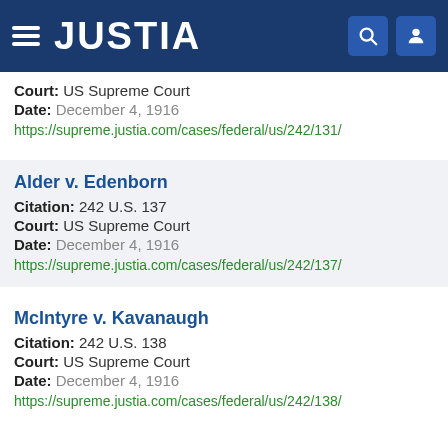[Figure (screenshot): Justia website header with hamburger menu, JUSTIA logo, search icon, and user icon on dark blue background]
Court: US Supreme Court
Date: December 4, 1916
https://supreme.justia.com/cases/federal/us/242/131/
Alder v. Edenborn
Citation: 242 U.S. 137
Court: US Supreme Court
Date: December 4, 1916
https://supreme.justia.com/cases/federal/us/242/137/
McIntyre v. Kavanaugh
Citation: 242 U.S. 138
Court: US Supreme Court
Date: December 4, 1916
https://supreme.justia.com/cases/federal/us/242/138/